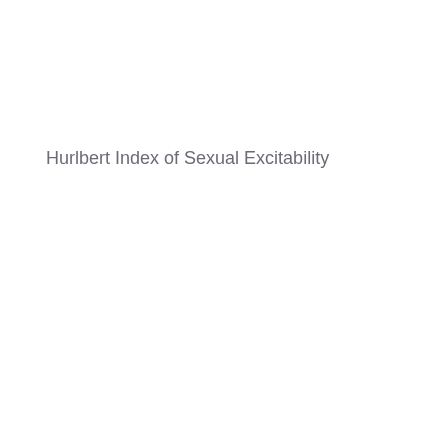Hurlbert Index of Sexual Excitability